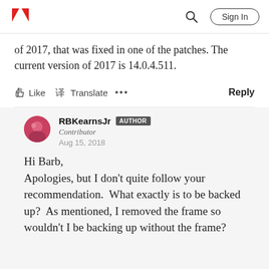Adobe | Sign In
of 2017, that was fixed in one of the patches. The current version of 2017 is 14.0.4.511.
Like  Translate  ...  Reply
RBKearnsJr  AUTHOR
Contributor
Aug 15, 2018
Hi Barb,
Apologies, but I don't quite follow your recommendation.  What exactly is to be backed up?  As mentioned, I removed the frame so wouldn't I be backing up without the frame?